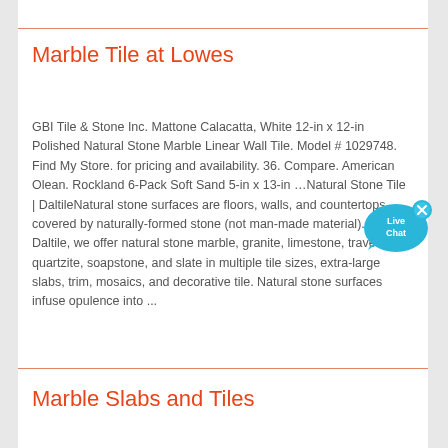Marble Tile at Lowes
GBI Tile & Stone Inc. Mattone Calacatta, White 12-in x 12-in Polished Natural Stone Marble Linear Wall Tile. Model # 1029748. Find My Store. for pricing and availability. 36. Compare. American Olean. Rockland 6-Pack Soft Sand 5-in x 13-in …Natural Stone Tile | DaltileNatural stone surfaces are floors, walls, and countertops covered by naturally-formed stone (not man-made material). At Daltile, we offer natural stone marble, granite, limestone, travertine, quartzite, soapstone, and slate in multiple tile sizes, extra-large slabs, trim, mosaics, and decorative tile. Natural stone surfaces infuse opulence into ...
[Figure (illustration): Live Chat button - a blue speech bubble with 'Live Chat' text and an X close button]
Marble Slabs and Tiles